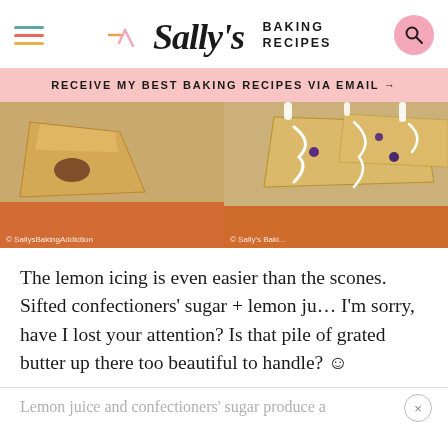Sally's Baking Recipes
RECEIVE MY BEST BAKING RECIPES VIA EMAIL →
[Figure (photo): Two side-by-side food photos: left shows scones on a silicone baking mat with an orange edge, right shows glazed blueberry scones with white icing drizzle on a baking mat.]
The lemon icing is even easier than the scones. Sifted confectioners' sugar + lemon ju… I'm sorry, have I lost your attention? Is that pile of grated butter up there too beautiful to handle? ☺
Lemon juice and confectioners' sugar produce a